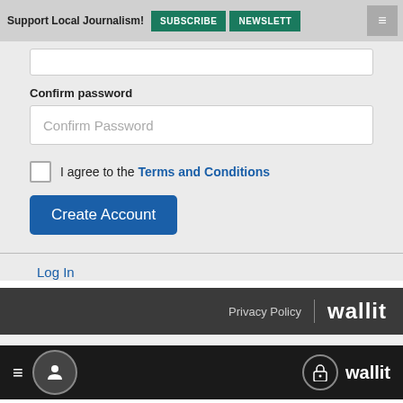Support Local Journalism! SUBSCRIBE NEWSLETT
Confirm password
[Figure (screenshot): Confirm Password input field with placeholder text]
I agree to the Terms and Conditions
Create Account
Log In
Privacy Policy | wallit
wallit